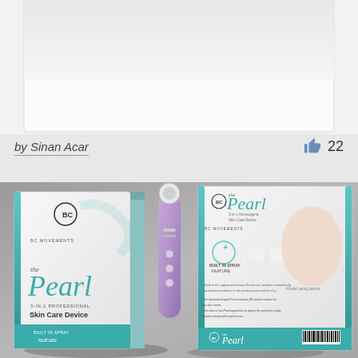[Figure (photo): Top portion of a design showcase page showing a cropped/partial image above an author byline]
by Sinan Acar
22
[Figure (photo): Product packaging photo showing two boxes of 'the Pearl 3-in-1 Professional Skin Care Device' by BC Movements, with a purple handheld device visible, and a model touching her face on the right box.]